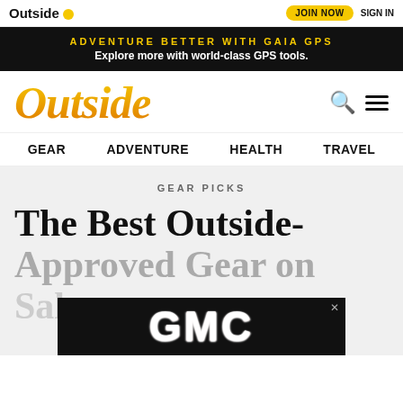Outside | JOIN NOW | SIGN IN
[Figure (infographic): Gaia GPS promotional banner: ADVENTURE BETTER WITH GAIA GPS / Explore more with world-class GPS tools.]
[Figure (logo): Outside magazine logo in gold/orange italic serif font, with search and menu icons]
GEAR  ADVENTURE  HEALTH  TRAVEL
GEAR PICKS
The Best Outside-Approved Gear on Sale
[Figure (logo): GMC advertisement logo overlay at bottom of page]